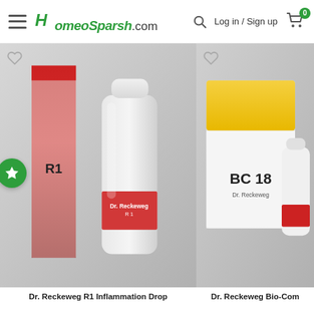HomeoSparsh.com | Log in / Sign up
[Figure (photo): Dr. Reckeweg R1 Inflammation Drops product image showing box and dropper bottle with red label on grey background]
Dr. Reckeweg R1 Inflammation Drop
[Figure (photo): Dr. Reckeweg Bio-Combination product image showing yellow box on grey background (partially visible)]
Dr. Reckeweg Bio-Com